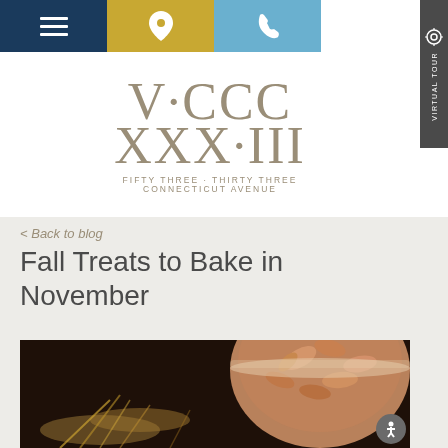Navigation bar with hamburger menu, location icon, and phone icon
[Figure (logo): V·CCC XXX·III logo for Fifty Three + Thirty Three Connecticut Avenue]
< Back to blog
Fall Treats to Bake in November
[Figure (photo): Dark atmospheric food photo showing wheat stalks and a decorative pie with leaf pastry decorations on top]